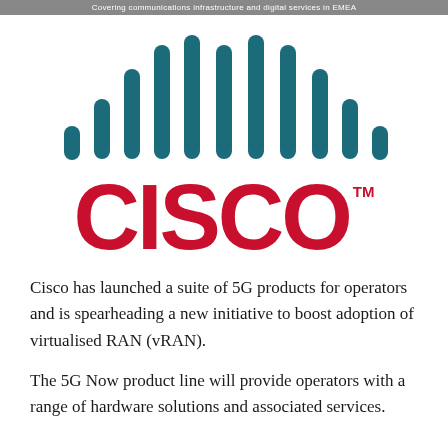Covering communications infrastructure and digital services in EMEA
[Figure (logo): Cisco logo: teal/dark-cyan vertical bars of varying heights arranged in a symmetric signal-strength pattern above the word CISCO in bold red letters with TM superscript]
Cisco has launched a suite of 5G products for operators and is spearheading a new initiative to boost adoption of virtualised RAN (vRAN).
The 5G Now product line will provide operators with a range of hardware solutions and associated services.